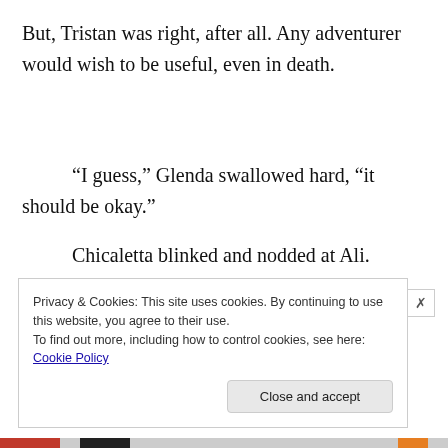But, Tristan was right, after all. Any adventurer would wish to be useful, even in death.
“I guess,” Glenda swallowed hard, “it should be okay.”
Chicaletta blinked and nodded at Ali. “Hurry.”
Privacy & Cookies: This site uses cookies. By continuing to use this website, you agree to their use.
To find out more, including how to control cookies, see here: Cookie Policy
Close and accept